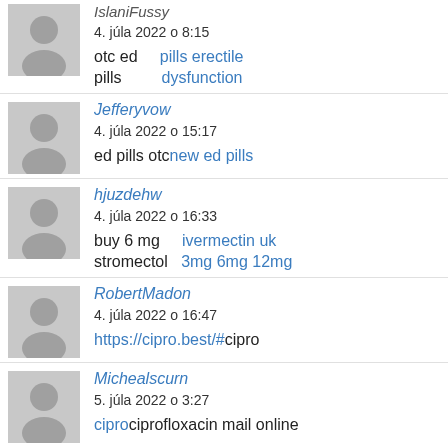IslaniFussy
4. júla 2022 o 8:15
otc ed pills   pills erectile dysfunction
Jefferyvow
4. júla 2022 o 15:17
ed pills otc new ed pills
hjuzdehw
4. júla 2022 o 16:33
buy 6 mg stromectol   ivermectin uk 3mg 6mg 12mg
RobertMadon
4. júla 2022 o 16:47
https://cipro.best/#cipro
Michealscurn
5. júla 2022 o 3:27
cipro ciprofloxacin mail online